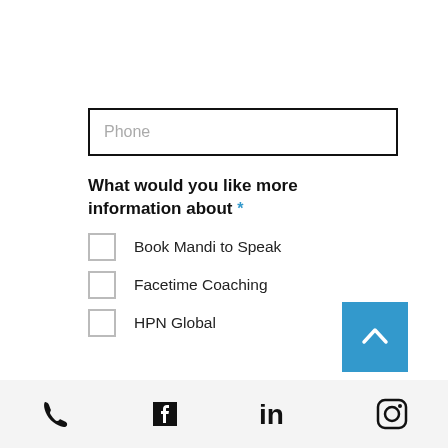Phone
What would you like more information about *
Book Mandi to Speak
Facetime Coaching
HPN Global
[Figure (other): Blue scroll-to-top button with white upward chevron arrow]
Phone icon, Facebook icon, LinkedIn icon, Instagram icon